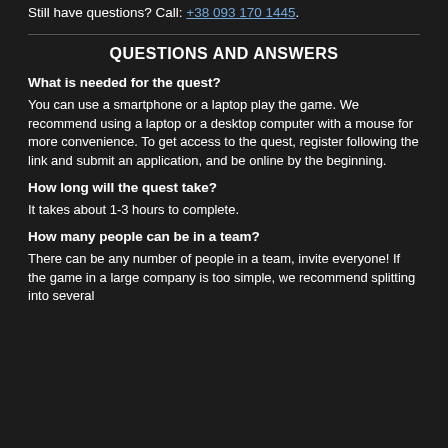Still have questions? Call: +38 093 170 1445.
QUESTIONS AND ANSWERS
What is needed for the quest?
You can use a smartphone or a laptop play the game. We recommend using a laptop or a desktop computer with a mouse for more convenience. To get access to the quest, register following the link and submit an application, and be online by the beginning.
How long will the quest take?
It takes about 1-3 hours to complete.
How many people can be in a team?
There can be any number of people in a team, invite everyone! If the game in a large company is too simple, we recommend splitting into several